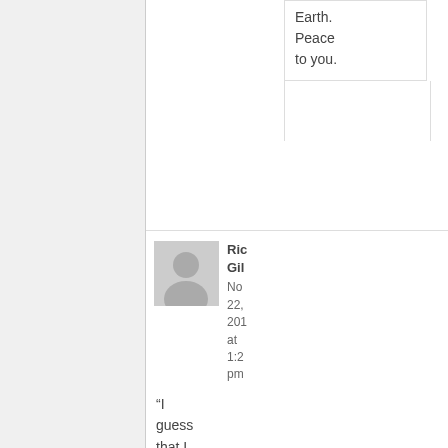Earth. Peace to you.
Ric Gi
No 22, 201 at 1:2 pm
“I guess that I am more of a cynic than you...”
Not sure I am any less?